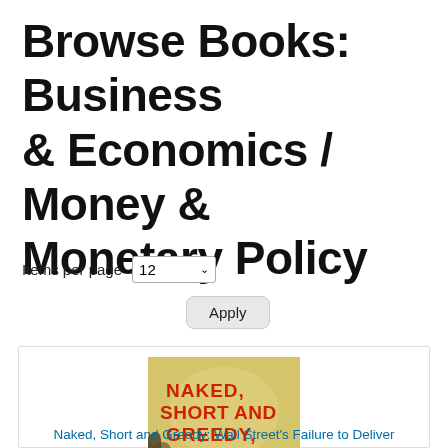Browse Books: Business & Economics / Money & Monetary Policy
Items per page  12  Apply
[Figure (illustration): Book cover for 'Naked, Short and Greedy: Wall Street's Failure to Deliver' by Dr. Susanne Trimbath. Yellow-green background with red title text, illustration of a bird/figure, subtitle text in yellow.]
Naked, Short and Greedy: Wall Street's Failure to Deliver